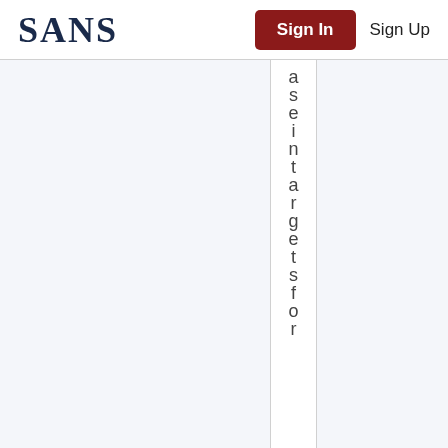[Figure (logo): SANS logo in dark navy serif font]
Sign In
Sign Up
a s e i n t a r g e t s f o r